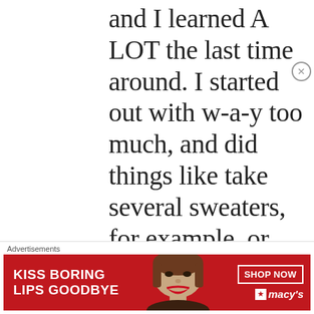and I learned A LOT the last time around. I started out with w-a-y too much, and did things like take several sweaters, for example, or colors I didn't like, but learned the sweaters were just too bulky and took up too much room (for something I didn't wear all that much); and I wore those
Advertisements
[Figure (other): Macy's advertisement banner with red background showing a woman's face with red lipstick, text 'KISS BORING LIPS GOODBYE', 'SHOP NOW' button, and Macy's star logo]